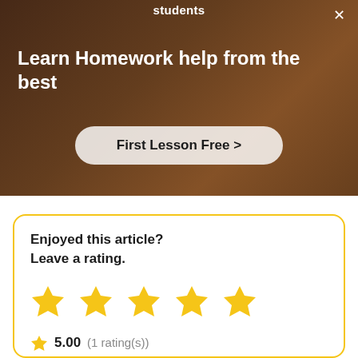students
[Figure (screenshot): Advertisement banner with background photo of a person teaching/helping. Shows 'Learn Homework help from the best' headline and a 'First Lesson Free >' call-to-action button. A close (X) button is in the top-right corner.]
Enjoyed this article?
Leave a rating.
[Figure (infographic): Five filled yellow star icons in a row for user rating]
5.00 (1 rating(s))
Jon